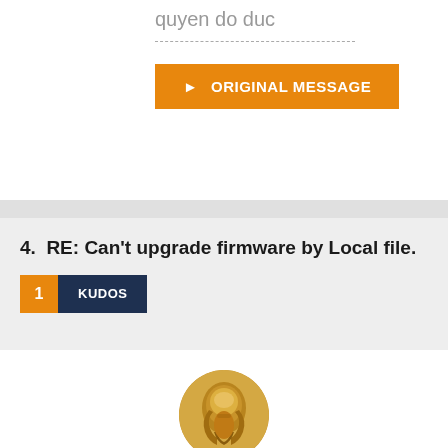quyen do duc
--------------------------------
▶ ORIGINAL MESSAGE
4.  RE: Can't upgrade firmware by Local file.
1 KUDOS
[Figure (illustration): Circular avatar icon showing a golden/bronze colored abstract helmet or mask shape]
scottm